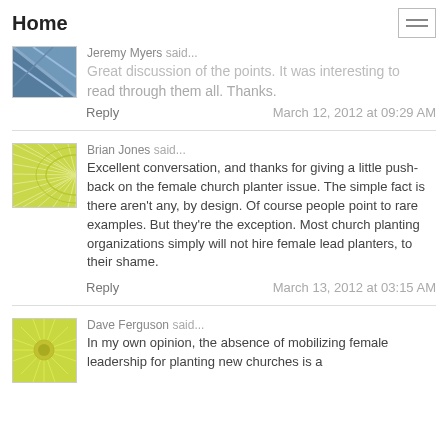Home
Jeremy Myers said... Great discussion of the points. It was interesting to read through them all. Thanks.
Reply   March 12, 2012 at 09:29 AM
Brian Jones said... Excellent conversation, and thanks for giving a little push-back on the female church planter issue. The simple fact is there aren't any, by design. Of course people point to rare examples. But they're the exception. Most church planting organizations simply will not hire female lead planters, to their shame.
Reply   March 13, 2012 at 03:15 AM
Dave Ferguson said... In my own opinion, the absence of mobilizing female leadership for planting new churches is a